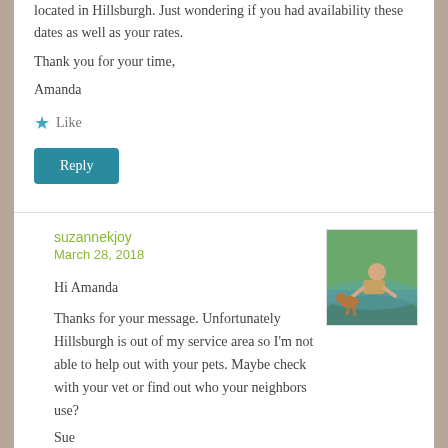located in Hillsburgh. Just wondering if you had availability these dates as well as your rates.
Thank you for your time,
Amanda
★ Like
Reply
suzannekjoy
March 28, 2018
[Figure (photo): Avatar photo of person sitting outdoors near water]
Hi Amanda
Thanks for your message. Unfortunately Hillsburgh is out of my service area so I'm not able to help out with your pets. Maybe check with your vet or find out who your neighbors use?
Sue
★ Like